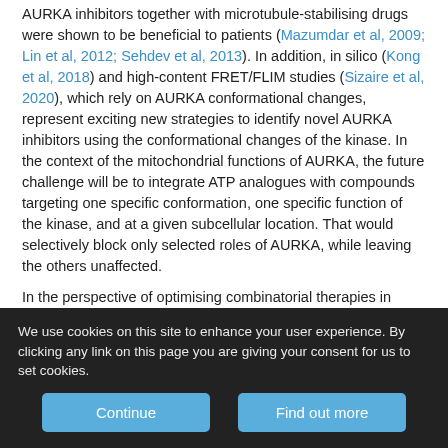AURKA inhibitors together with microtubule-stabilising drugs were shown to be beneficial to patients (Mazumdar et al, 2009; Lin et al, 2012; Sehdev et al, 2013). In addition, in silico (Kong et al, 2018) and high-content FRET/FLIM studies (Sizaire et al, 2020), which rely on AURKA conformational changes, represent exciting new strategies to identify novel AURKA inhibitors using the conformational changes of the kinase. In the context of the mitochondrial functions of AURKA, the future challenge will be to integrate ATP analogues with compounds targeting one specific conformation, one specific function of the kinase, and at a given subcellular location. That would selectively block only selected roles of AURKA, while leaving the others unaffected.
In the perspective of optimising combinatorial therapies in
We use cookies on this site to enhance your user experience. By clicking any link on this page you are giving your consent for us to set cookies.